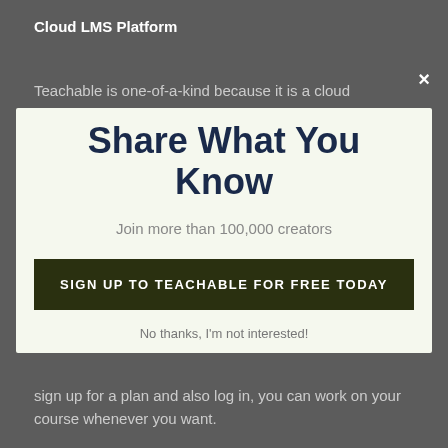Cloud LMS Platform
Teachable is one-of-a-kind because it is a cloud
×
Share What You Know
Join more than 100,000 creators
SIGN UP TO TEACHABLE FOR FREE TODAY
No thanks, I'm not interested!
sign up for a plan and also log in, you can work on your course whenever you want.